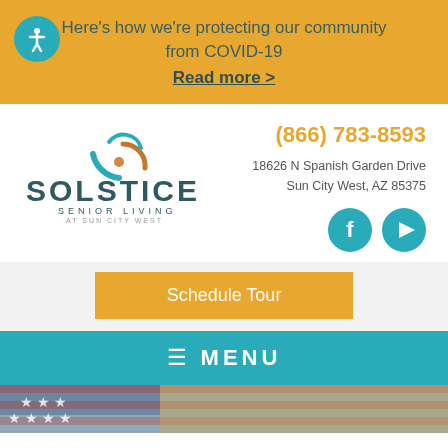Here's how we're protecting our community from COVID-19
Read more >
[Figure (logo): Solstice Senior Living at Sun City West logo with circular sun/moon icon]
(866) 783-8593
18626 N Spanish Garden Drive
Sun City West, AZ 85375
[Figure (illustration): Facebook and YouTube social media icons (teal circles)]
Schedule Tour
≡ MENU
[Figure (photo): Partial view of American flag at bottom of page]